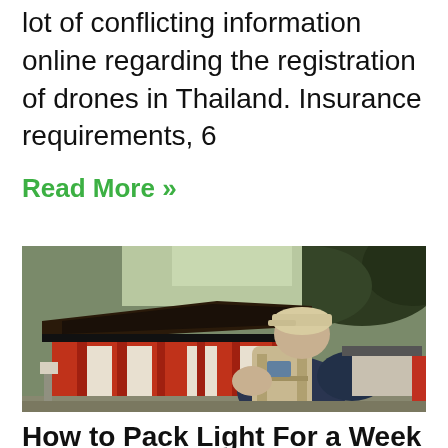lot of conflicting information online regarding the registration of drones in Thailand. Insurance requirements, 6
Read More »
[Figure (photo): A traveler with a backpack and cap viewed from behind, facing a traditional Japanese red shrine building with trees in the background.]
How to Pack Light For a Week or More